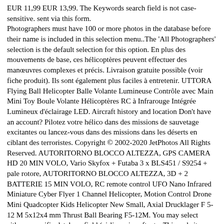EUR 11,99 EUR 13,99. The Keywords search field is not case-sensitive. sent via this form. Photographers must have 100 or more photos in the database before their name is included in this selection menu..The 'All Photographers' selection is the default selection for this option. En plus des mouvements de base, ces hélicoptères peuvent effectuer des manœuvres complexes et précis. Livraison gratuite possible (voir fiche produit). Ils sont également plus faciles à entretenir. UTTORA Flying Ball Helicopter Balle Volante Lumineuse Contrôle avec Main Mini Toy Boule Volante Hélicoptères RC à Infrarouge Intégrée Lumineux d'éclairage LED. Aircraft history and location Don't have an account? Pilotez votre hélico dans des missions de sauvetage excitantes ou lancez-vous dans des missions dans les déserts en ciblant des terroristes. Copyright © 2002-2020 JetPhotos All Rights Reserved. AUTORITORNO BLOCCO ALTEZZA, GPS CAMERA HD 20 MIN VOLO, Vario Skyfox + Futaba 3 x BLS451 / S9254 + pale rotore, AUTORITORNO BLOCCO ALTEZZA, 3D + 2 BATTERIE 15 MIN VOLO, RC remote control UFO Nano Infrared Miniature Cyber Flyer 1 Channel Helicopter, Motion Control Drone Mini Quadcopter Kids Helicopter New Small, Axial Drucklager F 5-12 M 5x12x4 mm Thrust Ball Bearing F5-12M. You may select either a specific database field (airline, aircraft, etc. This website uses cookies. En savoir plus. submit your name, e-mail address and message to contact the photographer There must be at least 20 photos from a specific airport in the database before that airport is added to this